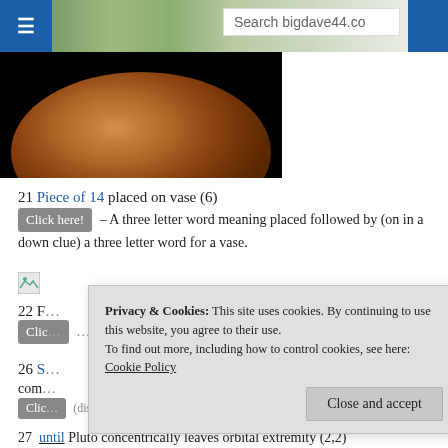Search bigdave44.co
[Figure (photo): Website header with landscape photo background and hamburger menu icon, search bar, and blue button]
[Figure (photo): Cropped image of a large russet/brown bowl or dome object against a black background]
21 Piece of 14 placed on vase (6)
Click here! – A three letter word meaning placed followed by (on in a down clue) a three letter word for a vase.
[Figure (photo): Broken/missing image placeholder icon]
22 F...
Clic... with the a...
26 S... ter's com...
Clic... (disappears) a word meaning 'com'...
27 until Pluto concentrically leaves orbital extremity (2,2)
Privacy & Cookies: This site uses cookies. By continuing to use this website, you agree to their use. To find out more, including how to control cookies, see here: Cookie Policy
Close and accept